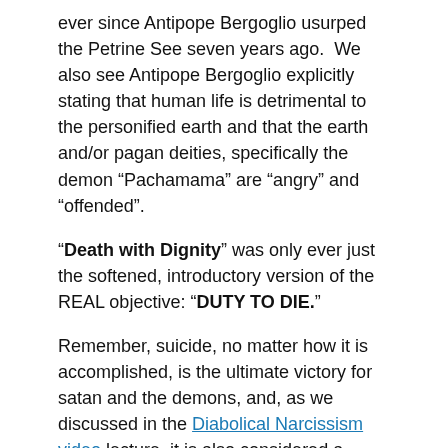ever since Antipope Bergoglio usurped the Petrine See seven years ago.  We also see Antipope Bergoglio explicitly stating that human life is detrimental to the personified earth and that the earth and/or pagan deities, specifically the demon “Pachamama” are “angry” and “offended”.
“Death with Dignity” was only ever just the softened, introductory version of the REAL objective: “DUTY TO DIE.”
Remember, suicide, no matter how it is accomplished, is the ultimate victory for satan and the demons, and, as we discussed in the Diabolical Narcissism video lecture, it is also considered a crowning achievement among the most severe Diabolical Narcissist psychopaths.  Sometimes it is on the micro level, a DN spouse, sex partner, family member, even sometimes a “friend” or co-worker will fantasize and sometimes attempt to drive people they target to suicide through abuse and gaslighting.  And, of course, we all know that the sort of Diabolical Narcissist psychopaths that aspire